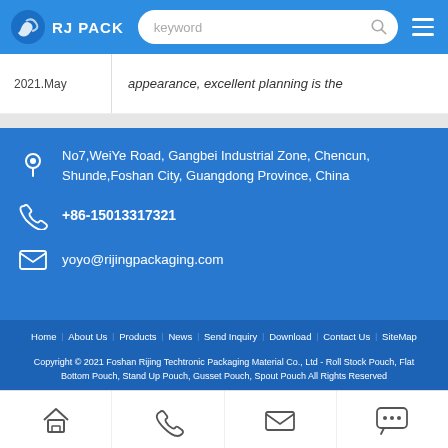RJ PACK
2021.May | appearance, excellent planning is the
No7,WeiYe Road, Gangbei Industrial Zone, Chencun, Shunde,Foshan City, Guangdong Province, China
+86-15013317321
yoyo@rijingpackaging.com
Home About Us Products News Send Inquiry Download Contact Us SiteMap
Copyright © 2021 Foshan Rijing Techtronic Packaging Material Co., Ltd - Roll Stock Pouch, Flat Bottom Pouch, Stand Up Pouch, Gusset Pouch, Spout Pouch All Rights Reserved